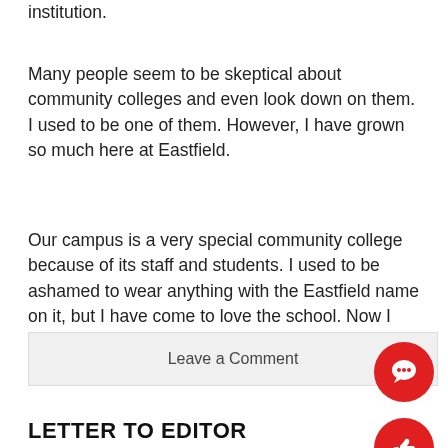institution.
Many people seem to be skeptical about community colleges and even look down on them. I used to be one of them. However, I have grown so much here at Eastfield.
Our campus is a very special community college because of its staff and students. I used to be ashamed to wear anything with the Eastfield name on it, but I have come to love the school. Now I wear the name with pride.
Leave a Comment
LETTER TO EDITOR